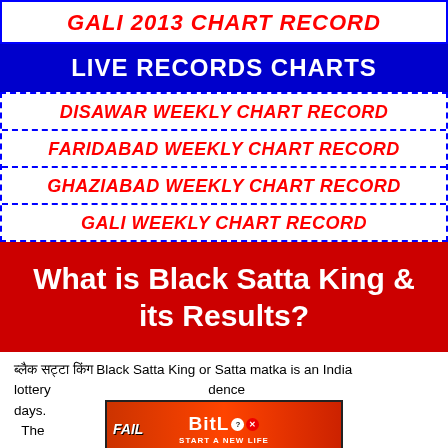GALI 2013 CHART RECORD
LIVE RECORDS CHARTS
DISAWAR WEEKLY CHART RECORD
FARIDABAD WEEKLY CHART RECORD
GHAZIABAD WEEKLY CHART RECORD
GALI WEEKLY CHART RECORD
What is Black Satta King & its Results?
ब्लैक सट्टा किंग Black Satta King or Satta matka is an India lottery... dence days... long. The... fore